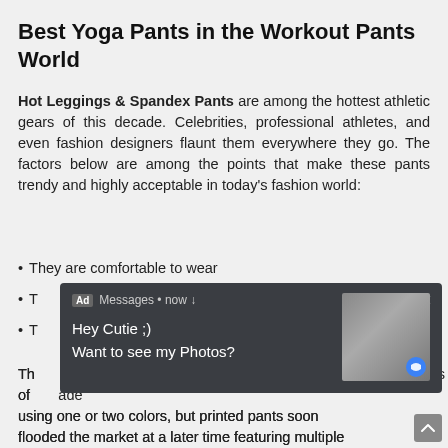Best Yoga Pants in the Workout Pants World
Hot Leggings & Spandex Pants are among the hottest athletic gears of this decade. Celebrities, professional athletes, and even fashion designers flaunt them everywhere they go. The factors below are among the points that make these pants trendy and highly acceptable in today's fashion world:
They are comfortable to wear
They offer [text obscured by ad overlay]
T[text obscured by ad overlay]
Th[text obscured] ies of [text obscured] ade using one or two colors, but printed pants soon flooded the market at a later time featuring multiple [text cut off]
[Figure (screenshot): Ad overlay notification popup with dark background showing 'Hey Cutie ;) Want to see my Photos?' with a thumbnail image and close button]